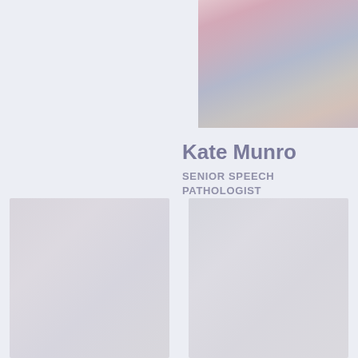[Figure (photo): Profile photo of Kate Munro, a woman with pink/red hair, positioned in upper right area of page]
Kate Munro
SENIOR SPEECH PATHOLOGIST
Read more +
[Figure (photo): Partially visible staff profile photo card, bottom left]
[Figure (photo): Partially visible staff profile photo card, bottom right]